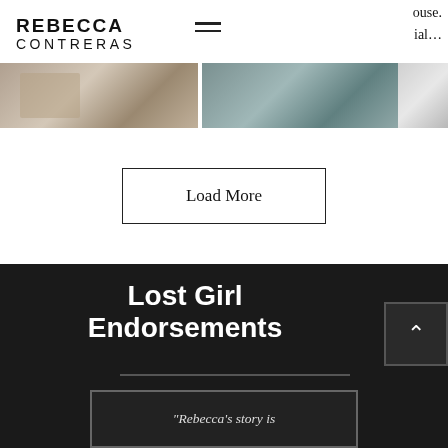ouse. ial...
REBECCA CONTRERAS
[Figure (photo): Horizontal strip of two partially visible interior/room photos side by side, with a third partial photo at the right edge]
Load More
Lost Girl Endorsements
"Rebecca's story is